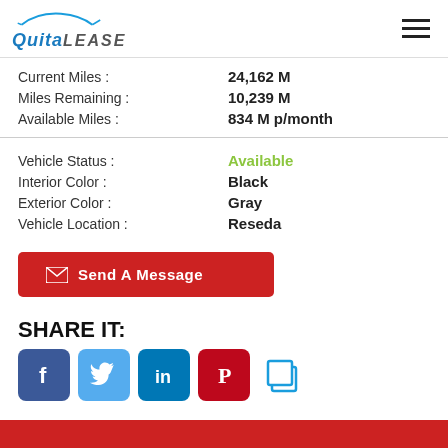[Figure (logo): QuitaLease logo with car silhouette and stylized text]
Current Miles : 24,162 M
Miles Remaining : 10,239 M
Available Miles : 834 M p/month
Vehicle Status : Available
Interior Color : Black
Exterior Color : Gray
Vehicle Location : Reseda
Send A Message
SHARE IT:
[Figure (infographic): Social share icons: Facebook, Twitter, LinkedIn, Pinterest, Copy]